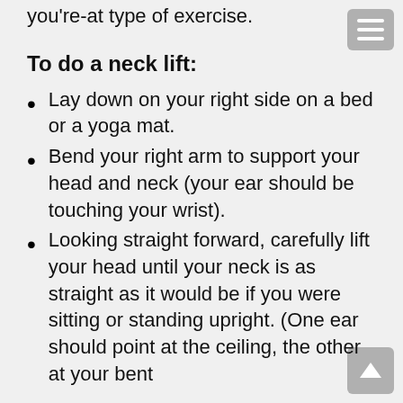you're-at type of exercise.
To do a neck lift:
Lay down on your right side on a bed or a yoga mat.
Bend your right arm to support your head and neck (your ear should be touching your wrist).
Looking straight forward, carefully lift your head until your neck is as straight as it would be if you were sitting or standing upright. (One ear should point at the ceiling, the other at your bent